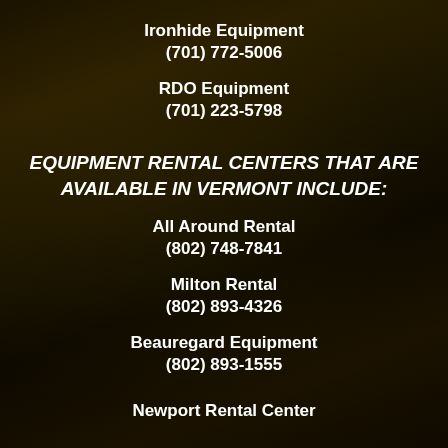Ironhide Equipment
(701) 772-5006
RDO Equipment
(701) 223-5798
EQUIPMENT RENTAL CENTERS THAT ARE AVAILABLE IN VERMONT INCLUDE:
All Around Rental
(802) 748-7841
Milton Rental
(802) 893-4326
Beauregard Equipment
(802) 893-1555
Newport Rental Center